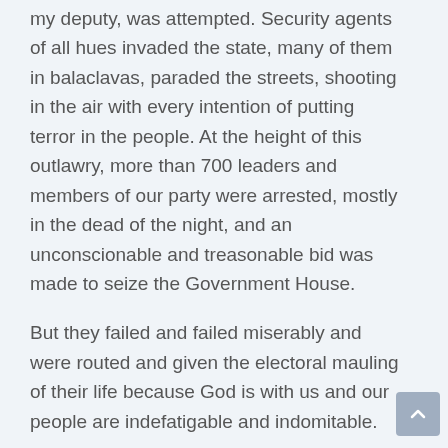my deputy, was attempted. Security agents of all hues invaded the state, many of them in balaclavas, paraded the streets, shooting in the air with every intention of putting terror in the people. At the height of this outlawry, more than 700 leaders and members of our party were arrested, mostly in the dead of the night, and an unconscionable and treasonable bid was made to seize the Government House.
But they failed and failed miserably and were routed and given the electoral mauling of their life because God is with us and our people are indefatigable and indomitable.
And so, today we celebrate our people who stood firm for democracy and liberty, who defied every form of provocation and intimidation to make a democratic statement by voting and standing to make their votes count. They have shown that no gun or sabre rattling